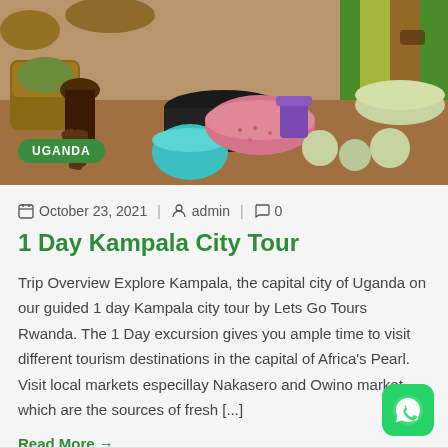[Figure (photo): A colorful market scene in Uganda showing vegetables, spices, and baskets spread on the ground with vendors and buyers. A green 'UGANDA' badge is overlaid at the bottom left.]
October 23, 2021  |  admin  |  0
1 Day Kampala City Tour
Trip Overview Explore Kampala, the capital city of Uganda on our guided 1 day Kampala city tour by Lets Go Tours Rwanda. The 1 Day excursion gives you ample time to visit different tourism destinations in the capital of Africa's Pearl. Visit local markets especillay Nakasero and Owino market which are the sources of fresh [...]
Read More →